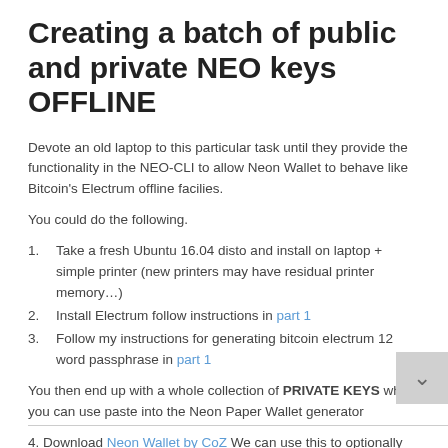Creating a batch of public and private NEO keys OFFLINE
Devote an old laptop to this particular task until they provide the functionality in the NEO-CLI to allow Neon Wallet to behave like Bitcoin's Electrum offline facilies.
You could do the following.
Take a fresh Ubuntu 16.04 disto and install on laptop + simple printer (new printers may have residual printer memory…)
Install Electrum follow instructions in part 1
Follow my instructions for generating bitcoin electrum 12 word passphrase in part 1
You then end up with a whole collection of PRIVATE KEYS which you can use paste into the Neon Paper Wallet generator
4. Download Neon Wallet by CoZ We can use this to optionally double check the NEO public keys generated by Snowpowers Paper Wallet code. EG